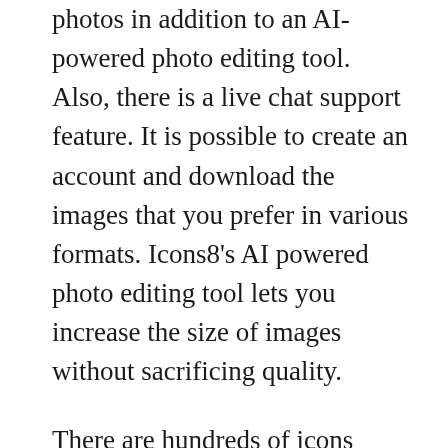photos in addition to an AI-powered photo editing tool. Also, there is a live chat support feature. It is possible to create an account and download the images that you prefer in various formats. Icons8's AI powered photo editing tool lets you increase the size of images without sacrificing quality.
There are hundreds of icons within the library. The icons are chosen for quality and variety, and are available in SVG and PNG formats that allow easy customization. It supports designers from more than 120 nations providing you with a diverse collection of icons from all areas of life. No matter what kind of project you're working on